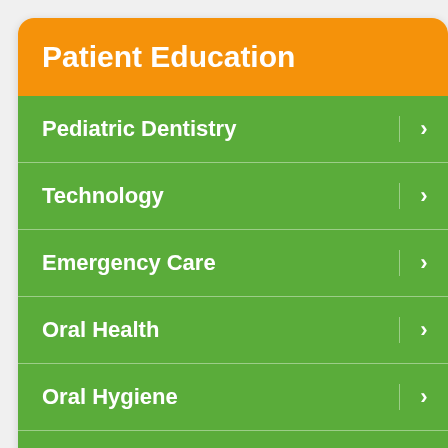Patient Education
Pediatric Dentistry
Technology
Emergency Care
Oral Health
Oral Hygiene
Orthodontics